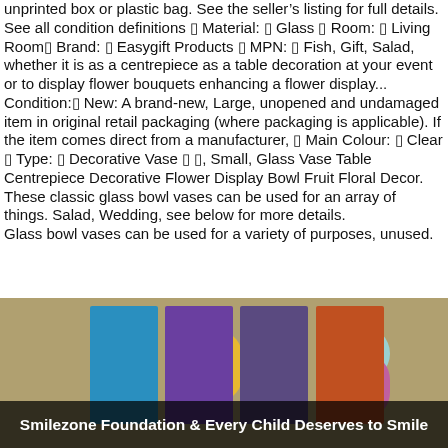unprinted box or plastic bag. See the seller's listing for full details. See all condition definitions ◻ Material: ◻ Glass ◻ Room: ◻ Living Room◻ Brand: ◻ Easygift Products ◻ MPN: ◻ Fish, Gift, Salad, whether it is as a centrepiece as a table decoration at your event or to display flower bouquets enhancing a flower display... Condition:◻ New: A brand-new, Large, unopened and undamaged item in original retail packaging (where packaging is applicable). If the item comes direct from a manufacturer, ◻ Main Colour: ◻ Clear ◻ Type: ◻ Decorative Vase ◻ ◻, Small, Glass Vase Table Centrepiece Decorative Flower Display Bowl Fruit Floral Decor. These classic glass bowl vases can be used for an array of things. Salad, Wedding, see below for more details. Glass bowl vases can be used for a variety of purposes, unused.
[Figure (photo): Photo of colorful artwork panels displayed on a wall. Four tall vertical panels with abstract colorful figures and shapes in blue, purple, orange, and teal tones. A dark semi-transparent overlay at the bottom contains white bold text.]
Smilezone Foundation & Every Child Deserves to Smile